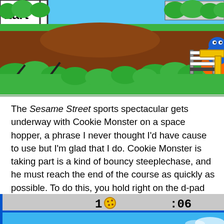[Figure (screenshot): A retro-style video game screenshot showing Cookie Monster riding an orange space hopper on a brown dirt course with green trees and bushes in the background. A hurdle obstacle is visible. Partially cropped showing '.tart' text from a start sign on the left.]
The Sesame Street sports spectacular gets underway with Cookie Monster on a space hopper, a phrase I never thought I'd have cause to use but I'm glad that I do. Cookie Monster is taking part is a kind of bouncy steeplechase, and he must reach the end of the course as quickly as possible. To do this, you hold right on the d-pad and press either A or B to jump – bounce, I suppose – over obstacles.
[Figure (screenshot): Bottom portion of a retro video game HUD showing '1' followed by a cookie icon and ':06' timer on a grey bar, with blue sky/water below.]